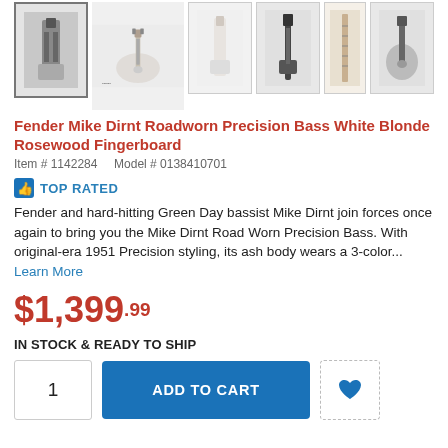[Figure (photo): Product thumbnail images of Fender Mike Dirnt Roadworn Precision Bass White Blonde guitar from multiple angles]
Fender Mike Dirnt Roadworn Precision Bass White Blonde Rosewood Fingerboard
Item # 1142284    Model # 0138410701
TOP RATED
Fender and hard-hitting Green Day bassist Mike Dirnt join forces once again to bring you the Mike Dirnt Road Worn Precision Bass. With original-era 1951 Precision styling, its ash body wears a 3-color... Learn More
$1,399.99
IN STOCK & READY TO SHIP
1  ADD TO CART  ♥